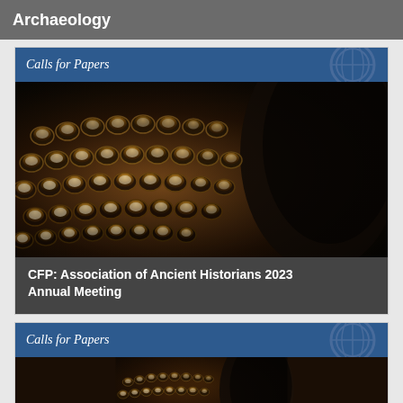Archaeology
Calls for Papers
[Figure (photo): Close-up photograph of vintage typewriter keys, warm amber/brown tones with dark background]
CFP: Association of Ancient Historians 2023 Annual Meeting
Calls for Papers
[Figure (photo): Close-up photograph of vintage typewriter keys, same image as above, partially visible]